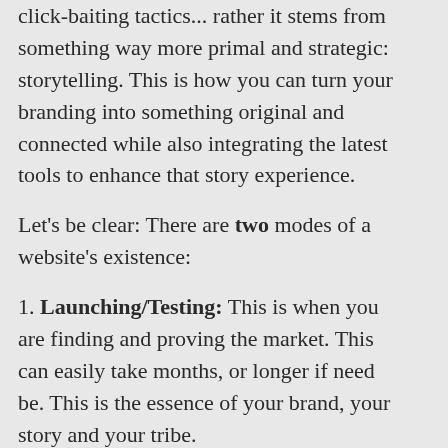click-baiting tactics... rather it stems from something way more primal and strategic: storytelling. This is how you can turn your branding into something original and connected while also integrating the latest tools to enhance that story experience.
Let's be clear: There are two modes of a website's existence:
1. Launching/Testing: This is when you are finding and proving the market. This can easily take months, or longer if need be. This is the essence of your brand, your story and your tribe.
2. Scaling/Maintenance: This is when you